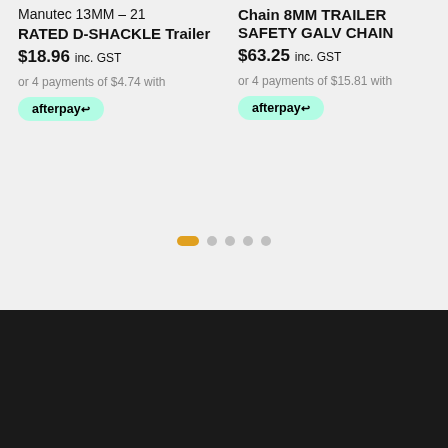Manutec 13MM – 21 RATED D-SHACKLE Trailer
$18.96 inc. GST
or 4 payments of $4.74 with afterpay
Chain 8MM TRAILER SAFETY GALV CHAIN
$63.25 inc. GST
or 4 payments of $15.81 with afterpay
SUPPORT & ORDER
0476 275 881